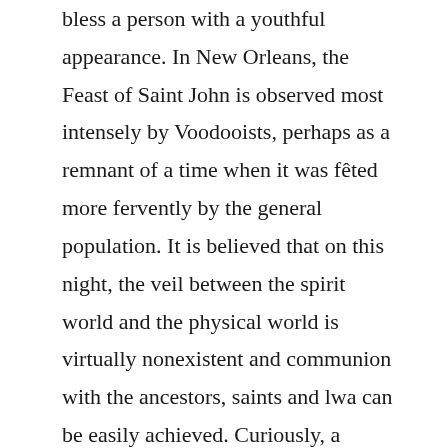bless a person with a youthful appearance. In New Orleans, the Feast of Saint John is observed most intensely by Voodooists, perhaps as a remnant of a time when it was fêted more fervently by the general population. It is believed that on this night, the veil between the spirit world and the physical world is virtually nonexistent and communion with the ancestors, saints and lwa can be easily achieved. Curiously, a similar belief in the Galicia region of Spain holds that that the souls in Purgatory can return to Earth on that same night, since the mystical dividing veil is lifted. On the eve of